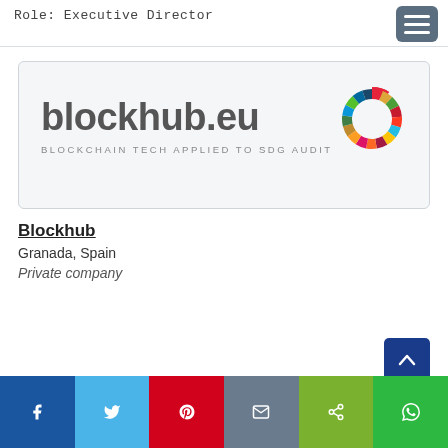Role: Executive Director
[Figure (logo): Blockhub.eu logo with text 'blockhub.eu' in large dark gray font, tagline 'BLOCKCHAIN TECH APPLIED TO SDG AUDIT' in small spaced gray letters, and a colorful SDG wheel logo in the top-right corner]
Blockhub
Granada, Spain
Private company